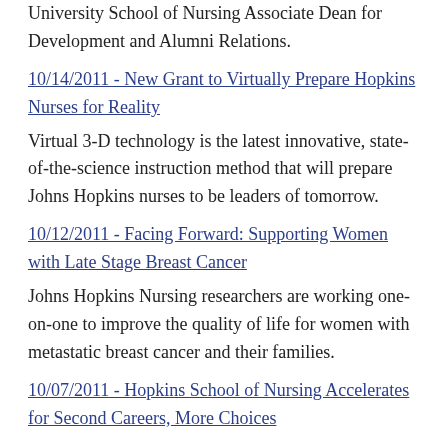University School of Nursing Associate Dean for Development and Alumni Relations.
10/14/2011 - New Grant to Virtually Prepare Hopkins Nurses for Reality
Virtual 3-D technology is the latest innovative, state-of-the-science instruction method that will prepare Johns Hopkins nurses to be leaders of tomorrow.
10/12/2011 - Facing Forward: Supporting Women with Late Stage Breast Cancer
Johns Hopkins Nursing researchers are working one-on-one to improve the quality of life for women with metastatic breast cancer and their families.
10/07/2011 - Hopkins School of Nursing Accelerates for Second Careers, More Choices